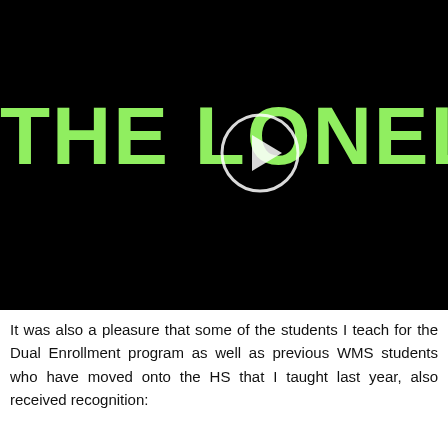[Figure (screenshot): Video thumbnail with black background showing the text 'THE LONELY' in large green bold letters, with a circular play button overlay in the upper right area.]
It was also a pleasure that some of the students I teach for the Dual Enrollment program as well as previous WMS students who have moved onto the HS that I taught last year, also received recognition: